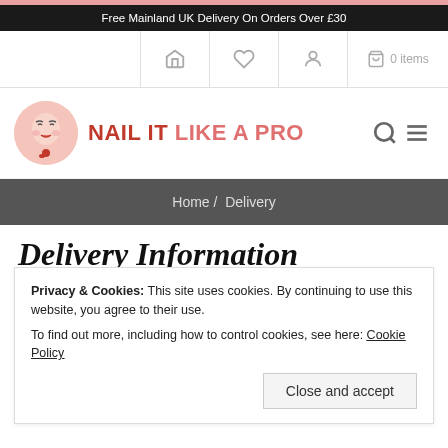Free Mainland UK Delivery On Orders Over £30
[Figure (logo): Nail It Like A Pro logo with circular face illustration and text]
Home / Delivery
Delivery Information
Privacy & Cookies: This site uses cookies. By continuing to use this website, you agree to their use.
To find out more, including how to control cookies, see here: Cookie Policy
Close and accept
services
Paragraph body text (partially visible at bottom)